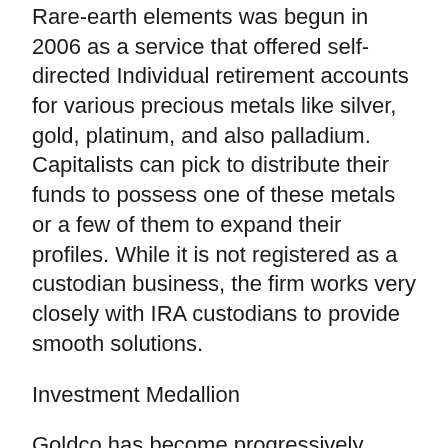Rare-earth elements was begun in 2006 as a service that offered self-directed Individual retirement accounts for various precious metals like silver, gold, platinum, and also palladium. Capitalists can pick to distribute their funds to possess one of these metals or a few of them to expand their profiles. While it is not registered as a custodian business, the firm works very closely with IRA custodians to provide smooth solutions.
Investment Medallion
Goldco has become progressively popular in recent days as a result of expected taxes on the horizon as capitalists look for tax-friendly ways to protect their riches. Even more individuals are looking to purchase precious